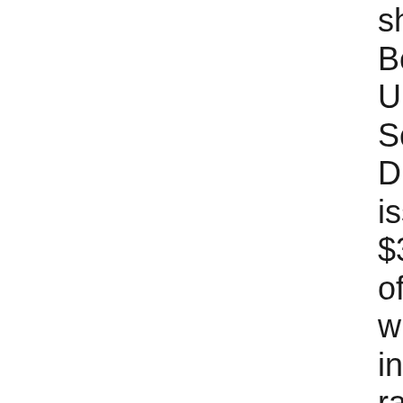facilities, shall Bonsall Unified School District issue $38,000,000 of bonds with interest rates below legal limits, with annual audits, independent citizens' oversight, NO